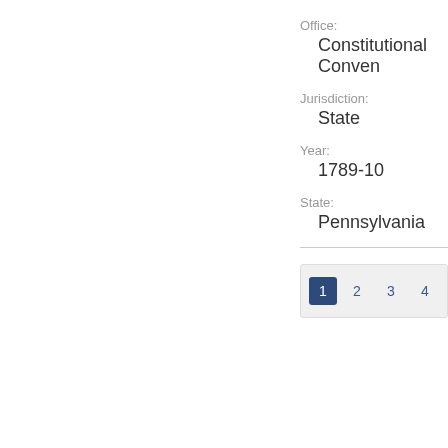Office:
Constitutional Conven
Jurisdiction:
State
Year:
1789-10
State:
Pennsylvania
1 2 3 4